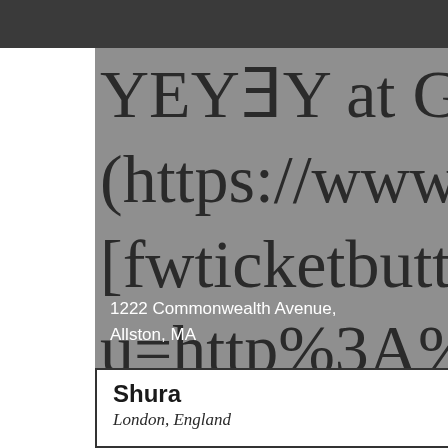YEYƎY at Great Scot (https://www.facebook [fwticketbutton size=' u=http%3A%2F%2Fw
1222 Commonwealth Avenue, Allston, MA
Shura
London, England